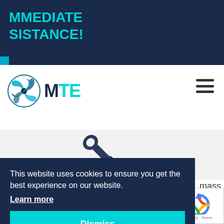MMEDIATE SISTANCE!
[Figure (logo): MTE company logo with swirl icon and text MTE in navy and teal]
[Figure (illustration): Wrench/spanner tool icon in dark navy color]
This website uses cookies to ensure you get the best experience on our website.
Learn more
Dismiss
mass
[Figure (other): Google reCAPTCHA badge with circular arrow icon. Privacy - Terms text.]